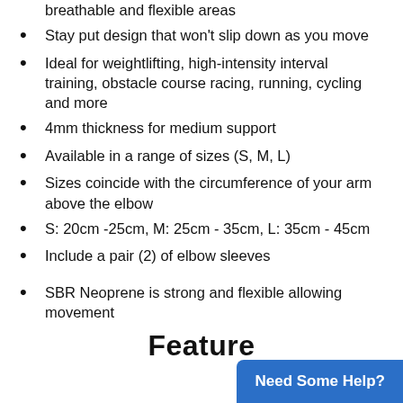breathable and flexible areas
Stay put design that won't slip down as you move
Ideal for weightlifting, high-intensity interval training, obstacle course racing, running, cycling and more
4mm thickness for medium support
Available in a range of sizes (S, M, L)
Sizes coincide with the circumference of your arm above the elbow
S: 20cm -25cm, M: 25cm - 35cm, L: 35cm - 45cm
Include a pair (2) of elbow sleeves
SBR Neoprene is strong and flexible allowing movement
Feature